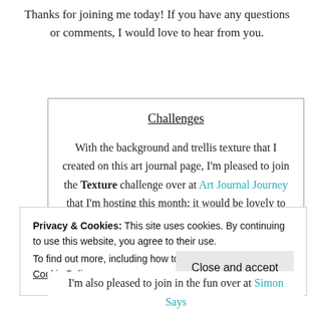Thanks for joining me today! If you have any questions or comments, I would love to hear from you.
Challenges
With the background and trellis texture that I created on this art journal page, I'm pleased to join the Texture challenge over at Art Journal Journey that I'm hosting this month; it would be lovely to see you there!
Privacy & Cookies: This site uses cookies. By continuing to use this website, you agree to their use.
To find out more, including how to control cookies, see here: Cookie Policy
I'm also pleased to join in the fun over at Simon Says